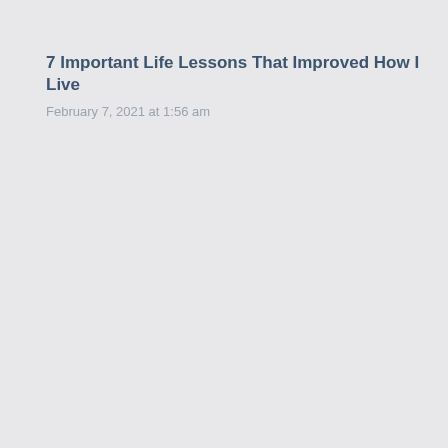7 Important Life Lessons That Improved How I Live
February 7, 2021 at 1:56 am